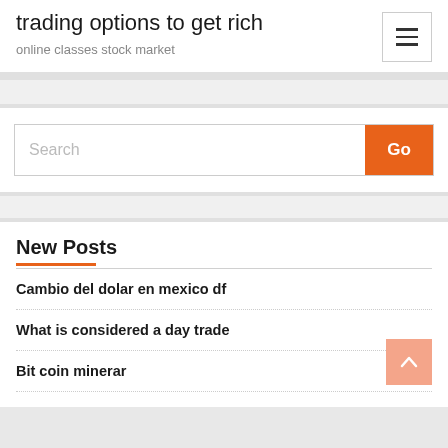trading options to get rich
online classes stock market
Search
New Posts
Cambio del dolar en mexico df
What is considered a day trade
Bit coin minerar